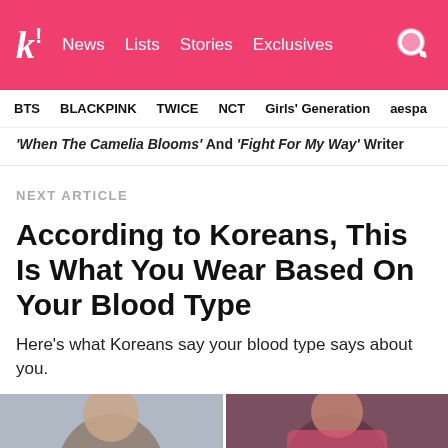k! News Lists Stories Exclusives
BTS BLACKPINK TWICE NCT Girls' Generation aespa
'When The Camelia Blooms' And 'Fight For My Way' Writer
NEXT ARTICLE
According to Koreans, This Is What You Wear Based On Your Blood Type
Here's what Koreans say your blood type says about you.
[Figure (photo): Two photos side by side showing people, partially cropped at the bottom of the page]